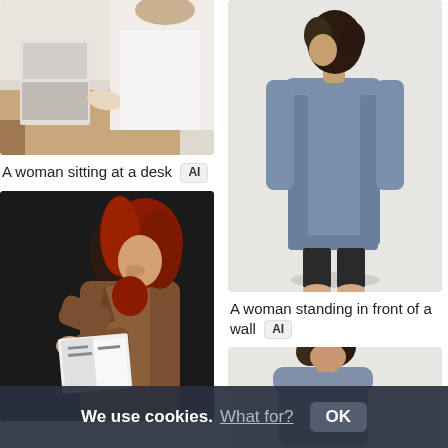[Figure (photo): A woman sitting at a desk, viewed from above/side, white top, desk scene with laptop]
A woman sitting at a desk  AI
[Figure (photo): A woman with red hair in a brown blazer reading a book/magazine against dark background]
[Figure (photo): A woman standing in front of a wall, wearing a blue-grey long coat, viewed from the back]
A woman standing in front of a wall  AI
[Figure (photo): A woman in blue-grey outfit looking downward, partially visible]
We use cookies. What for? OK